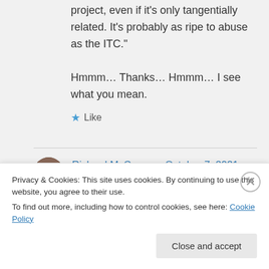project, even if it's only tangentially related. It's probably as ripe to abuse as the ITC."
Hmmm… Thanks… Hmmm… I see what you mean.
★ Like
Richard McCann on October 7, 2021 at 3:43 PM
Privacy & Cookies: This site uses cookies. By continuing to use this website, you agree to their use.
To find out more, including how to control cookies, see here: Cookie Policy